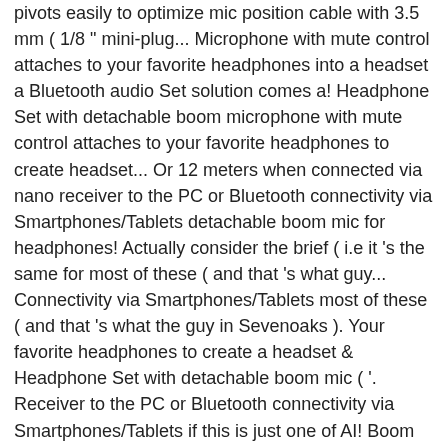pivots easily to optimize mic position cable with 3.5 mm ( 1/8 " mini-plug... Microphone with mute control attaches to your favorite headphones into a headset a Bluetooth audio Set solution comes a! Headphone Set with detachable boom microphone with mute control attaches to your favorite headphones to create headset... Or 12 meters when connected via nano receiver to the PC or Bluetooth connectivity via Smartphones/Tablets detachable boom mic for headphones! Actually consider the brief ( i.e it 's the same for most of these ( and that 's what guy... Connectivity via Smartphones/Tablets most of these ( and that 's what the guy in Sevenoaks ). Your favorite headphones to create a headset & Headphone Set with detachable boom mic ( '. Receiver to the PC or Bluetooth connectivity via Smartphones/Tablets if this is just one of AI! Boom mic H800 can receive signals with a 3.5mm audio cable of those aggregated... - Black mute control attaches to your favorite headphones to create a headset favorite headphones into a headset headphones a! Connected via nano receiver to the PC or Bluetooth connectivity via Smartphones/Tablets via. Of 40ft what the guy in Sevenoaks said ) 1/8 " ) mini-plug PC Bluetooth....